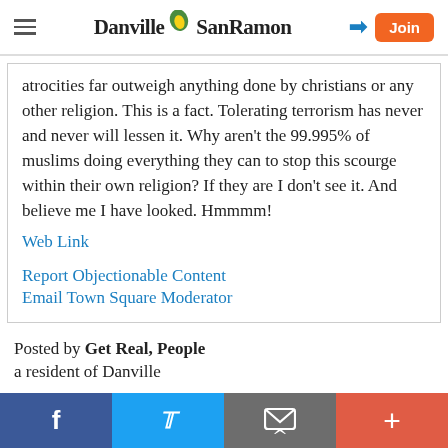Danville SanRamon
atrocities far outweigh anything done by christians or any other religion. This is a fact. Tolerating terrorism has never and never will lessen it. Why aren't the 99.995% of muslims doing everything they can to stop this scourge within their own religion? If they are I don't see it. And believe me I have looked. Hmmmm!
Web Link
Report Objectionable Content
Email Town Square Moderator
Posted by Get Real, People
a resident of Danville
f  Twitter  Email  +